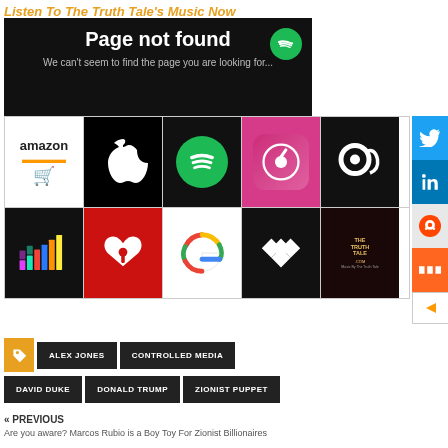Listen To The Truth Tale's Music Now
[Figure (screenshot): Page not found error screen with black background. Text reads: Page not found. We can't seem to find the page you are looking for. Spotify logo overlaid at top right.]
[Figure (infographic): Music streaming service logos grid: Amazon Music, Apple Music, Spotify, iTunes, Napster (row 1); Deezer, iHeartRadio, Google Play Music, Tidal, The Truth Tale (row 2). Social media sidebar with Twitter, LinkedIn, Reddit, Mix icons.]
ALEX JONES
CONTROLLED MEDIA
DAVID DUKE
DONALD TRUMP
ZIONIST PUPPET
« PREVIOUS
Are you aware? Marcos Rubio is a Boy Toy For Zionist Billionaires